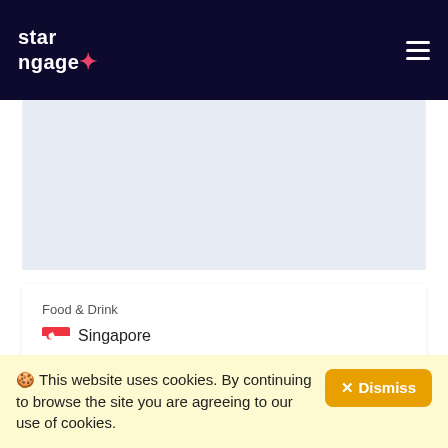star ngage
[Figure (other): Gray banner/advertisement placeholder area]
Food & Drink
🇸🇬 Singapore
A Tea Novel Launching Free Sampling Campaign
Ended
🍪 This website uses cookies. By continuing to browse the site you are agreeing to our use of cookies.